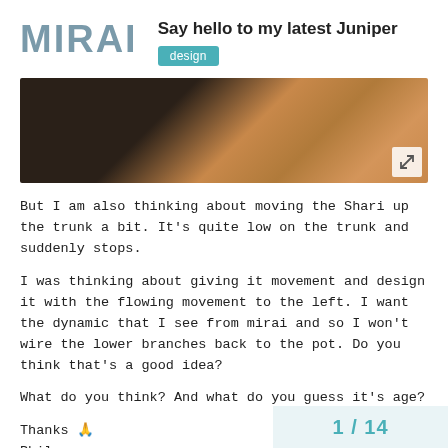Say hello to my latest Juniper
design
[Figure (photo): Close-up photo of a wooden surface or bonsai styling table, dark tones on left fading to warm brown wood grain on right. An expand/fullscreen icon is visible in the bottom-right corner.]
But I am also thinking about moving the Shari up the trunk a bit. It's quite low on the trunk and suddenly stops.
I was thinking about giving it movement and design it with the flowing movement to the left. I want the dynamic that I see from mirai and so I won't wire the lower branches back to the pot. Do you think that's a good idea?
What do you think? And what do you guess it's age?
Thanks 🙏
Phil
1 / 14